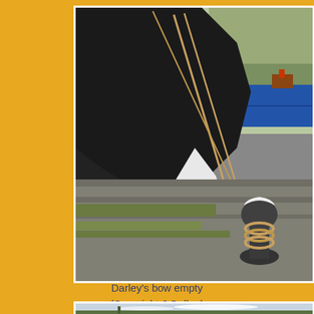[Figure (photo): Close-up photograph of a black narrowboat bow moored at a canal dock. Ropes extend from the bow down to a mooring bollard on the stone quayside. A blue boat is visible in the background, along with reeds and water. The quayside shows stone paving with grass growing in the cracks.]
Darley's bow empty
(Copyright J Gallop)
[Figure (photo): Partially visible photograph at the bottom showing a wide landscape with sky and distant treeline, likely a canal or river scene.]